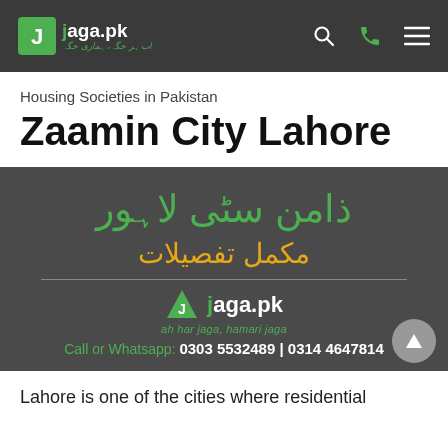jaga.pk — navigation bar with logo, search, phone and menu icons
Housing Societies in Pakistan
Zaamin City Lahore
[Figure (infographic): Dark grey banner with Urdu text 'ذامن سٹی لاہور' in green and 'مکمل تفصیلات' in orange/gold, a divider line, jaga.pk logo in white with green J icon, tagline 'ah har jaga, hamari jaga', and call line 'Call or Whatsapp: 0303 5532489 | 0314 4647814']
Lahore is one of the cities where residential